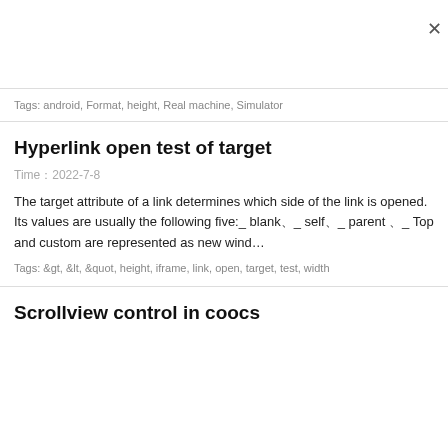Tags: android, Format, height, Real machine, Simulator
Hyperlink open test of target
Time：2022-7-8
The target attribute of a link determines which side of the link is opened. Its values are usually the following five:_ blank、_ self、_ parent 、_ Top and custom are represented as new wind…
Tags: &gt, &lt, &quot, height, iframe, link, open, target, test, width
Scrollview control in coocs